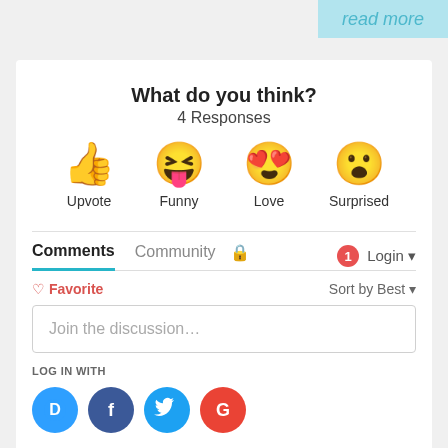read more
What do you think?
4 Responses
[Figure (infographic): Four emoji reaction buttons: thumbs up (Upvote), laughing face with tongue (Funny), heart eyes face (Love), surprised face (Surprised)]
Comments   Community   [lock icon]   [1 notification]   Login
♡ Favorite    Sort by Best
Join the discussion...
LOG IN WITH
[Figure (logo): Social login icons: Disqus (D), Facebook (f), Twitter bird, Google (G)]